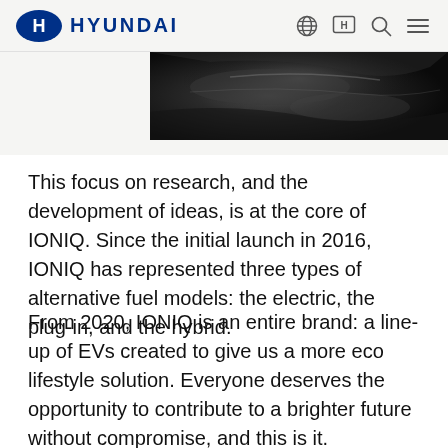HYUNDAI
[Figure (photo): Dark close-up photo of a car interior or exterior detail, showing glossy dark surfaces with subtle reflections]
This focus on research, and the development of ideas, is at the core of IONIQ. Since the initial launch in 2016, IONIQ has represented three types of alternative fuel models: the electric, the plug-in, and the hybrid.
From 2020, IONIQ is an entire brand: a line-up of EVs created to give us a more eco lifestyle solution. Everyone deserves the opportunity to contribute to a brighter future without compromise, and this is it.